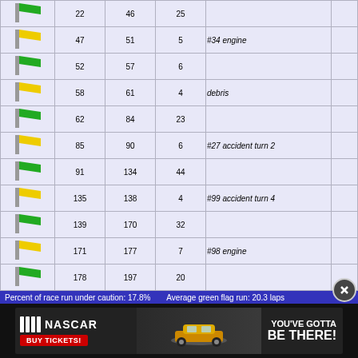| Flag | From Lap | To Lap | # Laps | Reason |
| --- | --- | --- | --- | --- |
| [green] | 22 | 46 | 25 |  |
| [yellow] | 47 | 51 | 5 | #34 engine |
| [green] | 52 | 57 | 6 |  |
| [yellow] | 58 | 61 | 4 | debris |
| [green] | 62 | 84 | 23 |  |
| [yellow] | 85 | 90 | 6 | #27 accident turn 2 |
| [green] | 91 | 134 | 44 |  |
| [yellow] | 135 | 138 | 4 | #99 accident turn 4 |
| [green] | 139 | 170 | 32 |  |
| [yellow] | 171 | 177 | 7 | #98 engine |
| [green] | 178 | 197 | 20 |  |
Percent of race run under caution: 17.8%    Average green flag run: 20.3 laps
Lap leader breakdown:
| LEADER | FROM LAP | TO LAP | # OF LAPS |
| --- | --- | --- | --- |
| Mike Wallace | 1 | 6 | 6 |
| Mark Martin | 7 | 8 | 2 |
| Michael Waltrip | 9 | 9 | 1 |
| Mark Martin | 10 | 15 | 6 |
| Michael Waltrip | 16 | 22 | 7 |
| Mark Martin | 23 | 54 | 32 |
| Dale Earnhardt | 55 | 64 | 10 |
[Figure (photo): NASCAR advertisement banner: NASCAR logo with stripes and BUY TICKETS button, car image, text YOU'VE GOTTA BE THERE!]